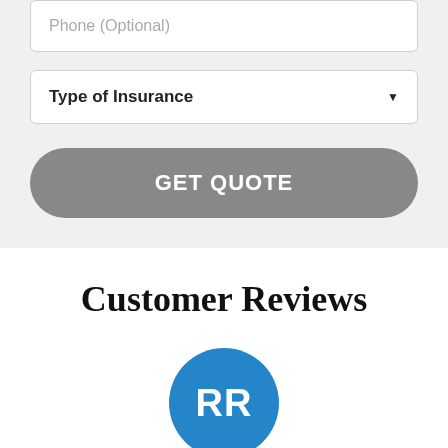Phone (Optional)
Type of Insurance
GET QUOTE
Customer Reviews
[Figure (illustration): Blue circular avatar with white initials 'RR' representing a customer reviewer]